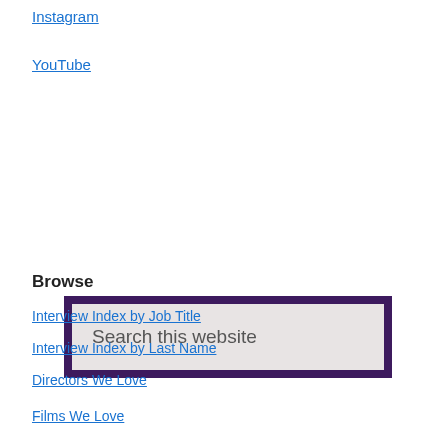Instagram
YouTube
[Figure (screenshot): Search input box with dark purple border and light gray background, placeholder text 'Search this website']
Browse
Interview Index by Job Title
Interview Index by Last Name
Directors We Love
Films We Love